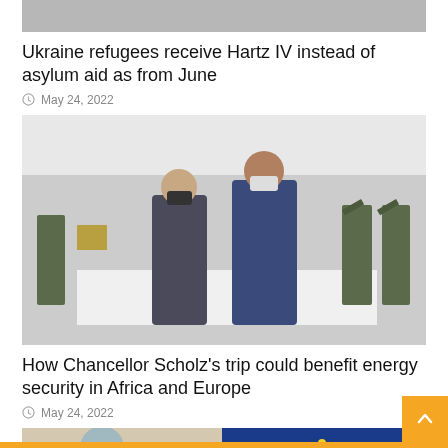[Figure (photo): Top cropped image, gray background visible at top of page]
Ukraine refugees receive Hartz IV instead of asylum aid as from June
May 24, 2022
[Figure (photo): Photo of two men in suits wearing face masks standing at a formal ceremony with military personnel saluting in the background]
How Chancellor Scholz’s trip could benefit energy security in Africa and Europe
May 24, 2022
[Figure (photo): Bottom partially visible image showing a person and EU flag stars on blue background]